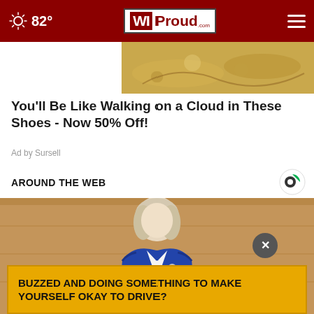82° WIProud.com
[Figure (photo): Close-up photo of decorative shoes with floral pattern]
You'll Be Like Walking on a Cloud in These Shoes - Now 50% Off!
Ad by Sursell
AROUND THE WEB
[Figure (photo): Woman in blue blazer speaking at a podium in a formal setting]
BUZZED AND DOING SOMETHING TO MAKE YOURSELF OKAY TO DRIVE?